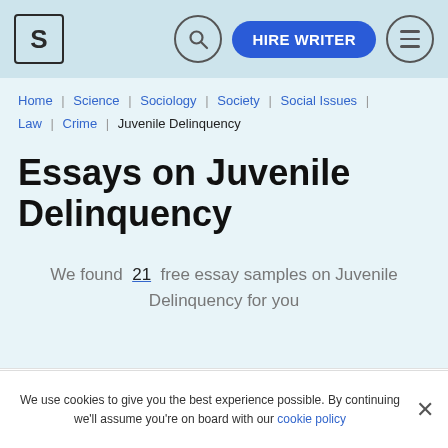S | [search] HIRE WRITER [menu]
Home | Science | Sociology | Society | Social Issues | Law | Crime | Juvenile Delinquency
Essays on Juvenile Delinquency
We found 21 free essay samples on Juvenile Delinquency for you
ESSAY EXAMPLES | ESSAY TOPICS | OVERVIEW
We use cookies to give you the best experience possible. By continuing we'll assume you're on board with our cookie policy ×